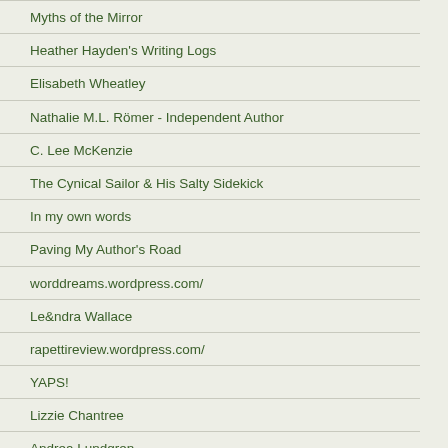Myths of the Mirror
Heather Hayden's Writing Logs
Elisabeth Wheatley
Nathalie M.L. Römer - Independent Author
C. Lee McKenzie
The Cynical Sailor & His Salty Sidekick
In my own words
Paving My Author's Road
worddreams.wordpress.com/
Le&ndra Wallace
rapettireview.wordpress.com/
YAPS!
Lizzie Chantree
Andrea Lundgren